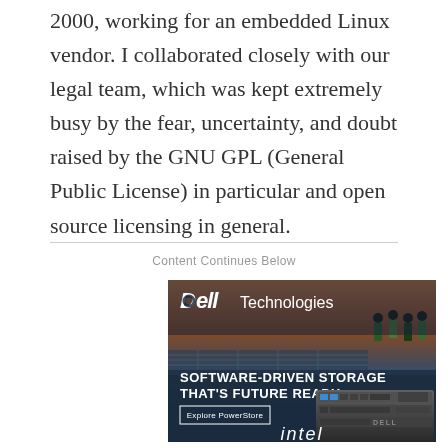2000, working for an embedded Linux vendor. I collaborated closely with our legal team, which was kept extremely busy by the fear, uncertainty, and doubt raised by the GNU GPL (General Public License) in particular and open source licensing in general.
Content Continues Below
[Figure (advertisement): Dell Technologies advertisement for Software-Driven Storage PowerStore product. Shows outdoor industrial landscape background with people silhouettes, storage hardware unit, and Intel logo at bottom. Text reads: DELL Technologies, SOFTWARE-DRIVEN STORAGE THAT'S FUTURE READY, Explore PowerStore button, intel logo.]